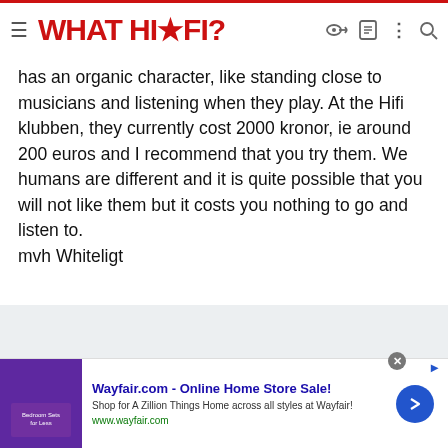WHAT HI-FI?
has an organic character, like standing close to musicians and listening when they play. At the Hifi klubben, they currently cost 2000 kronor, ie around 200 euros and I recommend that you try them. We humans are different and it is quite possible that you will not like them but it costs you nothing to go and listen to.
mvh Whiteligt
[Figure (other): Advertisement banner for Wayfair.com - Online Home Store Sale! featuring purple bedroom furniture image, description 'Shop for A Zillion Things Home across all styles at Wayfair!' and url www.wayfair.com with a blue arrow button]